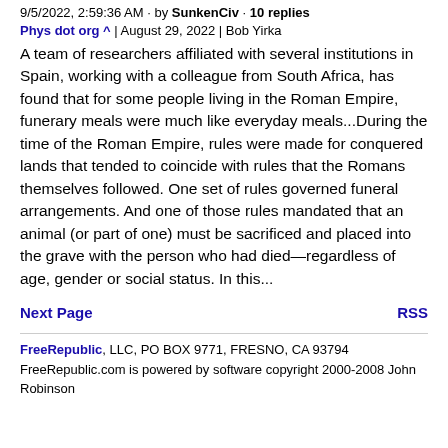9/5/2022, 2:59:36 AM · by SunkenCiv · 10 replies
Phys dot org ^ | August 29, 2022 | Bob Yirka
A team of researchers affiliated with several institutions in Spain, working with a colleague from South Africa, has found that for some people living in the Roman Empire, funerary meals were much like everyday meals...During the time of the Roman Empire, rules were made for conquered lands that tended to coincide with rules that the Romans themselves followed. One set of rules governed funeral arrangements. And one of those rules mandated that an animal (or part of one) must be sacrificed and placed into the grave with the person who had died—regardless of age, gender or social status. In this...
Next Page    RSS
FreeRepublic, LLC, PO BOX 9771, FRESNO, CA 93794
FreeRepublic.com is powered by software copyright 2000-2008 John Robinson